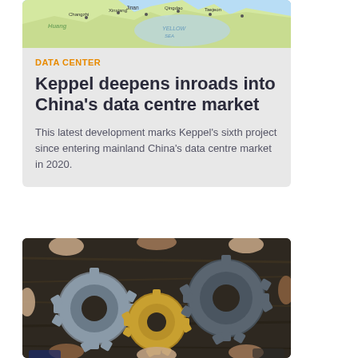[Figure (photo): Map of East Asia/China region showing Yellow Sea area with city names including Jinan, Qingdao, Changzhi, Xinxiang, Taejeon]
DATA CENTER
Keppel deepens inroads into China's data centre market
This latest development marks Keppel's sixth project since entering mainland China's data centre market in 2020.
[Figure (photo): Multiple hands holding and assembling interlocking metal gears on a dark wooden table — teamwork/collaboration concept]